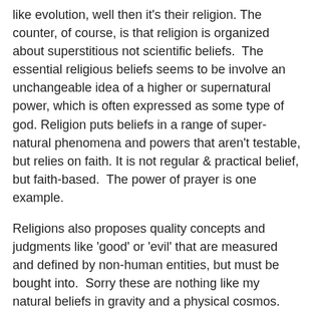like evolution, well then it's their religion. The counter, of course, is that religion is organized about superstitious not scientific beliefs.  The essential religious beliefs seems to be involve an unchangeable idea of a higher or supernatural power, which is often expressed as some type of god.  Religion puts beliefs in a range of super-natural phenomena and powers that aren't testable, but relies on faith. It is not regular & practical belief, but faith-based.  The power of prayer is one example.
Religions also proposes quality concepts and judgments like 'good' or 'evil' that are measured and defined by non-human entities, but must be bought into.  Sorry these are nothing like my natural beliefs in gravity and a physical cosmos.  Sure, I commit to them in some practical way every day, but my understanding of gravity is open to allow a Higgs boson to enter that understanding and expand and refine it. But that understanding comes without the idea of something beyond the natural. As Robert G. Ingersoll said in What is Religion" (his last public speech delivered in Boston, Massachusetts the evening of June 2, 1899):